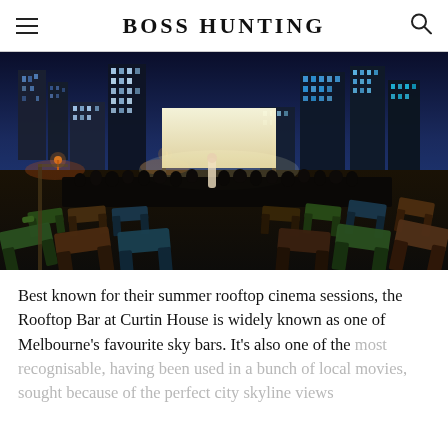BOSS HUNTING
[Figure (photo): Rooftop outdoor cinema at night with rows of deck chairs facing a large screen, Melbourne city skyline with illuminated skyscrapers in the background under a deep blue twilight sky.]
Best known for their summer rooftop cinema sessions, the Rooftop Bar at Curtin House is widely known as one of Melbourne's favourite sky bars. It's also one of the most recognisable, having been used in a bunch of local movies, sought because of the perfect city skyline views